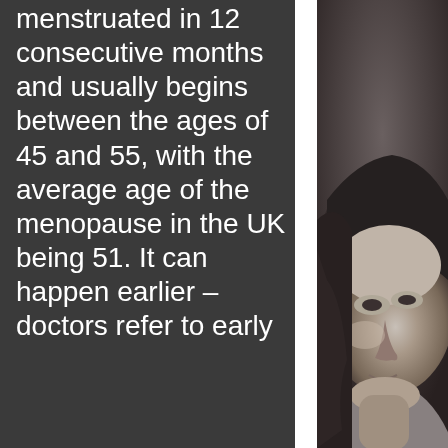menstruated in 12 consecutive months and usually begins between the ages of 45 and 55, with the average age of the menopause in the UK being 51. It can happen earlier – doctors refer to early
[Figure (photo): Black and white close-up photo of a woman's face, looking upward, from roughly chin to forehead, positioned on the right side of the page]